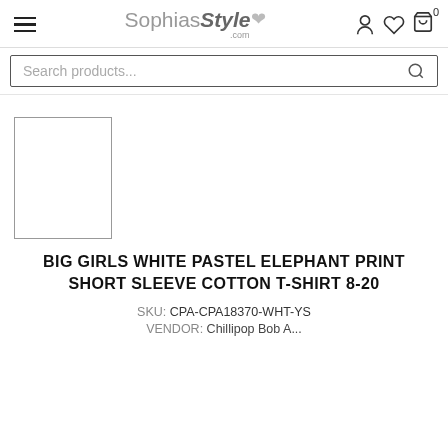SophiasStyle.com
Search products...
[Figure (photo): Empty product thumbnail image placeholder with border]
BIG GIRLS WHITE PASTEL ELEPHANT PRINT SHORT SLEEVE COTTON T-SHIRT 8-20
SKU: CPA-CPA18370-WHT-YS
VENDOR: Chillipop